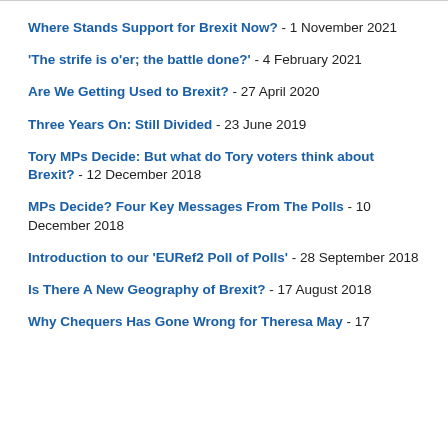Where Stands Support for Brexit Now? - 1 November 2021
'The strife is o'er; the battle done?' - 4 February 2021
Are We Getting Used to Brexit? - 27 April 2020
Three Years On: Still Divided - 23 June 2019
Tory MPs Decide: But what do Tory voters think about Brexit? - 12 December 2018
MPs Decide? Four Key Messages From The Polls - 10 December 2018
Introduction to our 'EURef2 Poll of Polls' - 28 September 2018
Is There A New Geography of Brexit? - 17 August 2018
Why Chequers Has Gone Wrong for Theresa May - 17